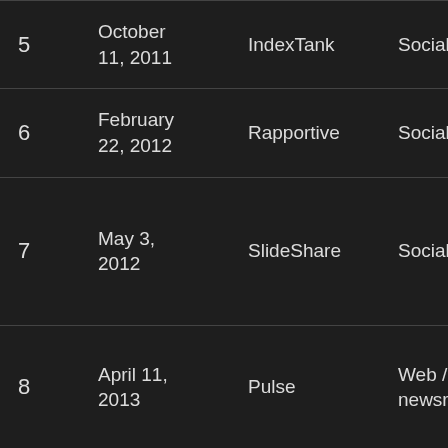| # | Date | Company | Category | Country |
| --- | --- | --- | --- | --- |
| 5 | October 11, 2011 | IndexTank | Social search | 🇺🇸 |
| 6 | February 22, 2012 | Rapportive | Social Contacts | 🇺🇸 |
| 7 | May 3, 2012 | SlideShare | Social Content | 🇺🇸 |
| 8 | April 11, 2013 | Pulse | Web / Mobile newsreader | 🇺🇸 |
| 9 | February 6, ... | Bright.com | Job Matching | 🇺🇸 |